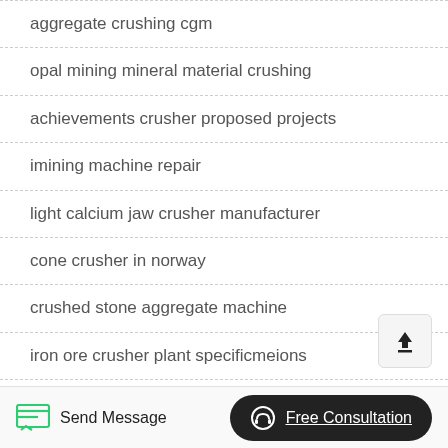aggregate crushing cgm
opal mining mineral material crushing
achievements crusher proposed projects
imining machine repair
light calcium jaw crusher manufacturer
cone crusher in norway
crushed stone aggregate machine
iron ore crusher plant specificmeions
icrushing ead ore dressing plants
Send Message | Free Consultation